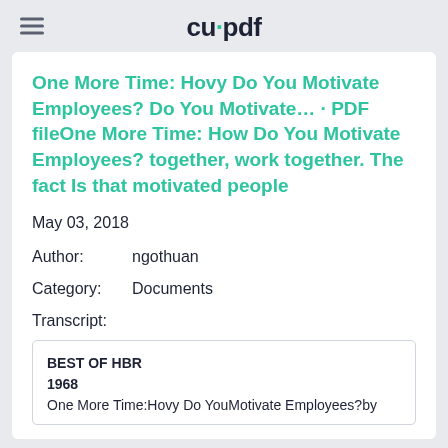cupdf
One More Time: Hovy Do You Motivate Employees? Do You Motivate… · PDF fileOne More Time: How Do You Motivate Employees? together, work together. The fact Is that motivated people
May 03, 2018
Author: ngothuan
Category: Documents
Transcript:
BEST OF HBR
1968
One More Time:Hovy Do YouMotivate Employees?by